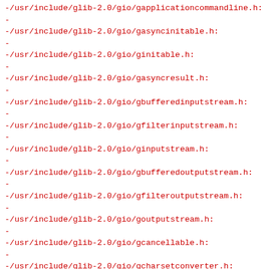-/usr/include/glib-2.0/gio/gapplicationcommandline.h:
-/usr/include/glib-2.0/gio/gasyncinitable.h:
-/usr/include/glib-2.0/gio/ginitable.h:
-/usr/include/glib-2.0/gio/gasyncresult.h:
-/usr/include/glib-2.0/gio/gbufferedinputstream.h:
-/usr/include/glib-2.0/gio/gfilterinputstream.h:
-/usr/include/glib-2.0/gio/ginputstream.h:
-/usr/include/glib-2.0/gio/gbufferedoutputstream.h:
-/usr/include/glib-2.0/gio/gfilteroutputstream.h:
-/usr/include/glib-2.0/gio/goutputstream.h:
-/usr/include/glib-2.0/gio/gcancellable.h:
-/usr/include/glib-2.0/gio/gcharsetconverter.h:
-/usr/include/glib-2.0/gio/gconverter.h:
-/usr/include/glib-2.0/gio/gcontenttype.h:
-/usr/include/glib-2.0/gio/gconverterinputstream.h: